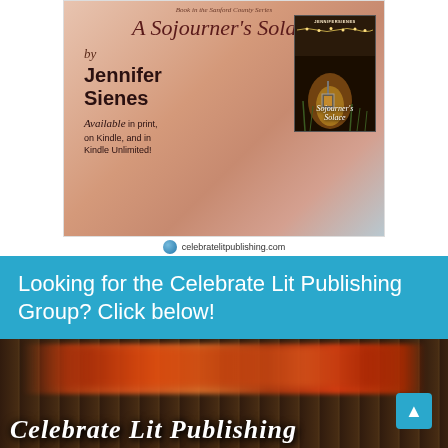[Figure (illustration): Book promotional image for 'A Sojourner's Solace' by Jennifer Sienes. Pink/peach watercolor background with cursive title text, author name, availability info, and a dark book cover thumbnail showing a lantern scene with string lights. Footer shows celebratelitpublishing.com with globe icon.]
Looking for the Celebrate Lit Publishing Group? Click below!
[Figure (photo): Dark atmospheric photo of what appears to be a fireplace or embers glowing with warm orange and red light, with a dark wooden or metal grate. Overlaid with white italic text reading 'Celebrate Lit Publishing' and a teal arrow-up navigation button in the lower right corner.]